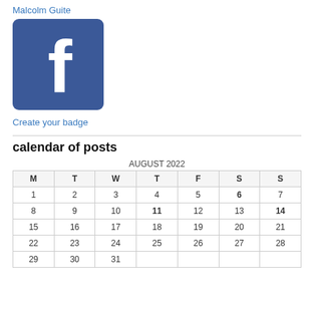Malcolm Guite
[Figure (logo): Facebook logo — blue square with rounded corners and white lowercase 'f']
Create your badge
| M | T | W | T | F | S | S |
| --- | --- | --- | --- | --- | --- | --- |
| 1 | 2 | 3 | 4 | 5 | 6 | 7 |
| 8 | 9 | 10 | 11 | 12 | 13 | 14 |
| 15 | 16 | 17 | 18 | 19 | 20 | 21 |
| 22 | 23 | 24 | 25 | 26 | 27 | 28 |
| 29 | 30 | 31 |  |  |  |  |